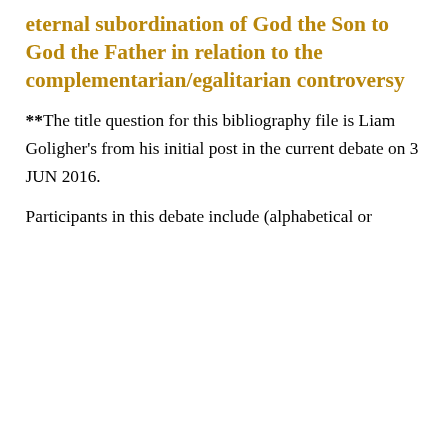eternal subordination of God the Son to God the Father in relation to the complementarian/egalitarian controversy
**The title question for this bibliography file is Liam Goligher's from his initial post in the current debate on 3 JUN 2016.
Participants in this debate include (alphabetical or
[Figure (screenshot): Share This modal dialog overlaying the page content. Contains title 'Share This', subtitle 'Share this with your friends!', a close (×) button, a Facebook share button (dark blue with 'f' icon), and a Twitter share button (light blue with bird icon).]